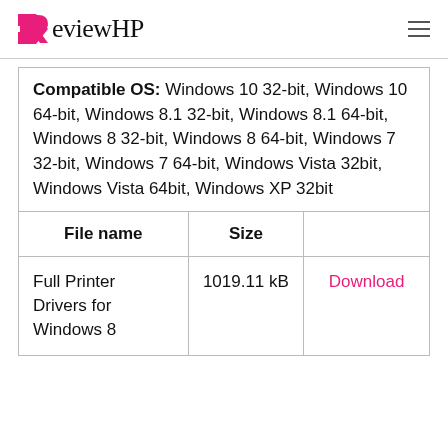ReviewHP
| Compatible OS |  |  |
| --- | --- | --- |
| Compatible OS: Windows 10 32-bit, Windows 10 64-bit, Windows 8.1 32-bit, Windows 8.1 64-bit, Windows 8 32-bit, Windows 8 64-bit, Windows 7 32-bit, Windows 7 64-bit, Windows Vista 32bit, Windows Vista 64bit, Windows XP 32bit |
| File name | Size |  |
| Full Printer Drivers for Windows 8 | 1019.11 kB | Download |